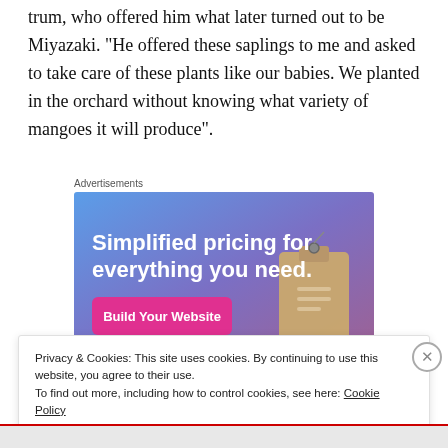trum, who offered him what later turned out to be Miyazaki. “He offered these saplings to me and asked to take care of these plants like our babies. We planted in the orchard without knowing what variety of mangoes it will produce”.
Advertisements
[Figure (illustration): Advertisement banner with blue-to-purple gradient background showing the text 'Simplified pricing for everything you need.' with a pink 'Build Your Website' button and an image of a price tag.]
Privacy & Cookies: This site uses cookies. By continuing to use this website, you agree to their use.
To find out more, including how to control cookies, see here: Cookie Policy
Close and accept